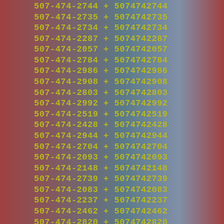507-474-2744 + 5074742744
507-474-2735 + 5074742735
507-474-2734 + 5074742734
507-474-2287 + 5074742287
507-474-2057 + 5074742057
507-474-2784 + 5074742784
507-474-2986 + 5074742986
507-474-2908 + 5074742908
507-474-2803 + 5074742803
507-474-2992 + 5074742992
507-474-2519 + 5074742519
507-474-2428 + 5074742428
507-474-2944 + 5074742944
507-474-2704 + 5074742704
507-474-2093 + 5074742093
507-474-2148 + 5074742148
507-474-2739 + 5074742739
507-474-2083 + 5074742083
507-474-2237 + 5074742237
507-474-2462 + 5074742462
507-474-2820 + 5074742820
507-474-2987 + 5074742987
507-474-2541 + 5074742541